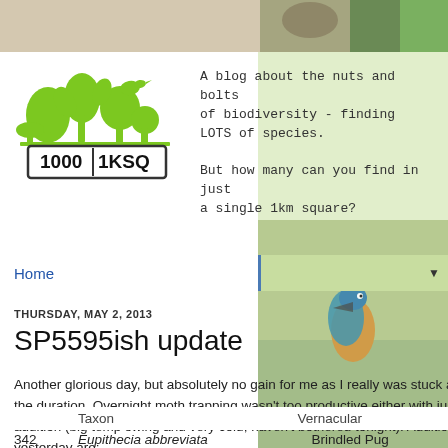[Figure (photo): Top strip photo showing a bird/nature scene, partially cropped at top of page]
[Figure (logo): 1000 species in 1KSQ green logo with plants and animals silhouette]
A blog about the nuts and bolts of biodiversity - finding LOTS of species.

But how many can you find in just a single 1km square?
[Figure (photo): Right sidebar photo showing a kingfisher bird, semi-transparent green overlay]
Home
THURSDAY, MAY 2, 2013
SP5595ish update
Another glorious day, but absolutely no gain for me as I really was stuck at work for the duration. Overnight moth trapping wasn't too productive either with just one addition (big temp swing and very cold, haven't bothered tonight). Additions from yesterday are:
|  | Taxon | Vernacular |
| --- | --- | --- |
| 342 | Eupithecia abbreviata | Brindled Pug |